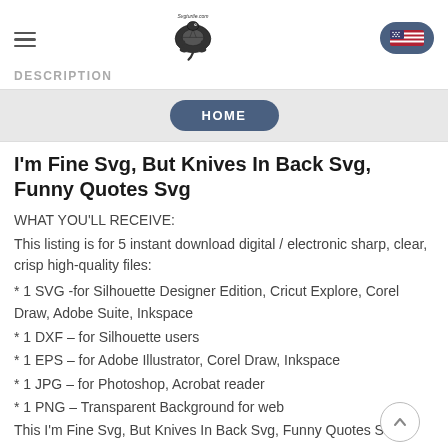DESCRIPTION
[Figure (logo): Svgturtle.com logo with a turtle illustration and website name]
[Figure (illustration): US flag icon in a rounded dark blue oval button]
HOME
I'm Fine Svg, But Knives In Back Svg, Funny Quotes Svg
WHAT YOU'LL RECEIVE:
This listing is for 5 instant download digital / electronic sharp, clear, crisp high-quality files:
* 1 SVG -for Silhouette Designer Edition, Cricut Explore, Corel Draw, Adobe Suite, Inkspace
* 1 DXF – for Silhouette users
* 1 EPS – for Adobe Illustrator, Corel Draw, Inkspace
* 1 JPG – for Photoshop, Acrobat reader
* 1 PNG – Transparent Background for web
This I'm Fine Svg, But Knives In Back Svg, Funny Quotes Svg